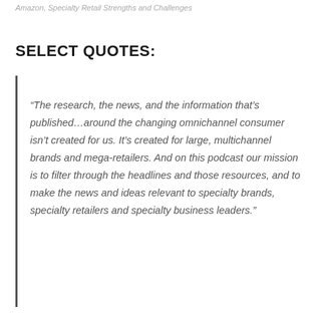Amazon, Specialty Retail Strengths and Challenges
SELECT QUOTES:
“The research, the news, and the information that’s published…around the changing omnichannel consumer isn’t created for us. It’s created for large, multichannel brands and mega-retailers. And on this podcast our mission is to filter through the headlines and those resources, and to make the news and ideas relevant to specialty brands, specialty retailers and specialty business leaders.”